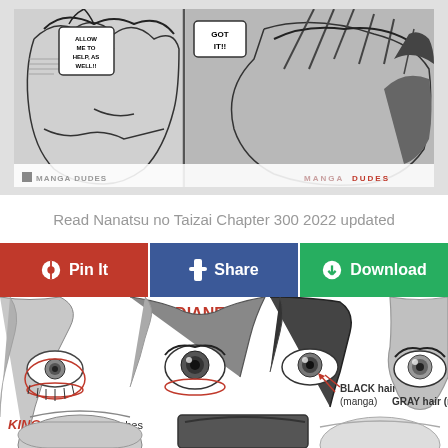[Figure (illustration): Manga panels from Nanatsu no Taizai showing action scenes with speech bubbles: 'ALLOW ME TO HELP, AS WELL!!' and 'GOT IT!!' with watermark overlays reading 'MANGA DUDES' and site logo]
Read Nanatsu no Taizai Chapter 300 2022 updated
Pin It
Share
Download
[Figure (illustration): Manga character reference chart showing eyes and hair styles for characters: KING (long lower lashes), DIANE, character with BLACK hair (manga), and character with GRAY hair (manga), plus lower row showing character hair/head shots]